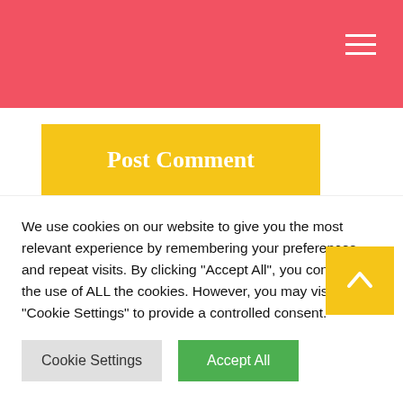[Figure (screenshot): Red navigation header bar with hamburger menu icon (three white horizontal lines) on the right]
[Figure (screenshot): Yellow 'Post Comment' button]
[Figure (screenshot): White content box with partial red serif text visible at the bottom]
We use cookies on our website to give you the most relevant experience by remembering your preferences and repeat visits. By clicking "Accept All", you consent to the use of ALL the cookies. However, you may visit "Cookie Settings" to provide a controlled consent.
[Figure (screenshot): Cookie Settings (grey) and Accept All (green) buttons, plus yellow scroll-to-top arrow button]